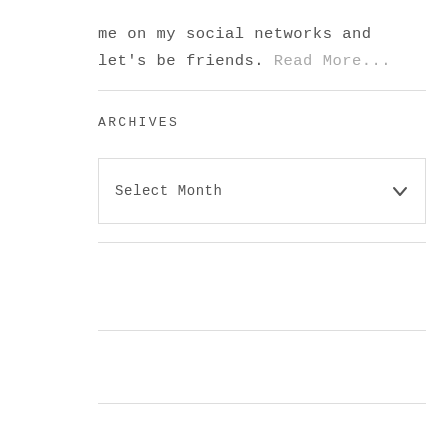me on my social networks and let's be friends. Read More...
ARCHIVES
[Figure (screenshot): A dropdown select box labeled 'Select Month' with a chevron arrow on the right]